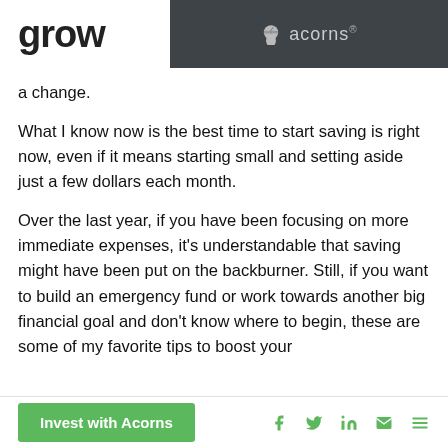grow | acorns®
a change.
What I know now is the best time to start saving is right now, even if it means starting small and setting aside just a few dollars each month.
Over the last year, if you have been focusing on more immediate expenses, it's understandable that saving might have been put on the backburner. Still, if you want to build an emergency fund or work towards another big financial goal and don't know where to begin, these are some of my favorite tips to boost your
Invest with Acorns